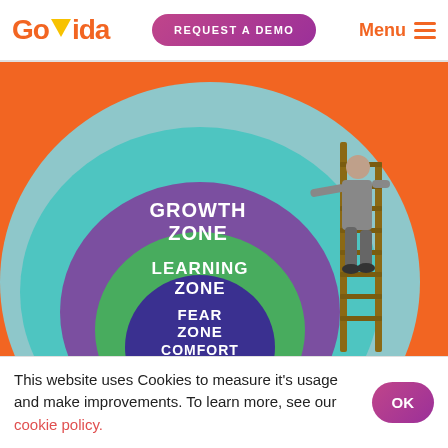GoVida | REQUEST A DEMO | Menu
[Figure (infographic): Concentric zone diagram on orange background showing a figure climbing a ladder through four zones from inner to outer: COMFORT ZONE (dark purple/blue innermost), FEAR ZONE (green), LEARNING ZONE (purple/violet), GROWTH ZONE (teal outermost). A businessman in a suit climbs a wooden ladder on the right side.]
This website uses Cookies to measure it's usage and make improvements. To learn more, see our cookie policy.